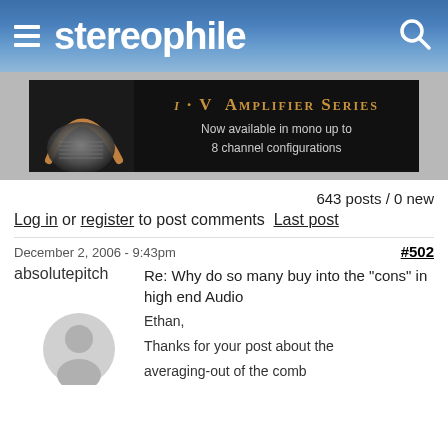stereophile
[Figure (infographic): i·V Amplifier Series advertisement banner. Black background with an image of an amplifier on the left. Text: 'i·V AMPLIFIER SERIES — Now available in mono up to 8 channel configurations']
643 posts / 0 new
Log in or register to post comments  Last post
December 2, 2006 - 9:43pm
#502
absolutepitch
Re: Why do so many buy into the "cons" in high end Audio
[Figure (illustration): Generic grey silhouette avatar of a person]
Ethan,

Thanks for your post about the averaging-out of the comb